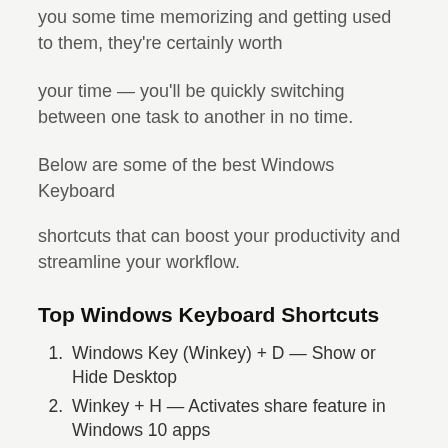you some time memorizing and getting used to them, they're certainly worth
your time — you'll be quickly switching between one task to another in no time.
Below are some of the best Windows Keyboard shortcuts that can boost your productivity and streamline your workflow.
Top Windows Keyboard Shortcuts
Windows Key (Winkey) + D — Show or Hide Desktop
Winkey + H — Activates share feature in Windows 10 apps
Winkey + I — Launch Windows Settings